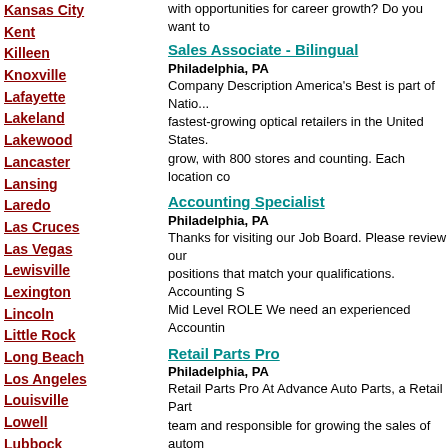Kansas City
Kent
Killeen
Knoxville
Lafayette
Lakeland
Lakewood
Lancaster
Lansing
Laredo
Las Cruces
Las Vegas
Lewisville
Lexington
Lincoln
Little Rock
Long Beach
Los Angeles
Louisville
Lowell
Lubbock
Madison
Manchester
with opportunities for career growth? Do you want to
Sales Associate - Bilingual
Philadelphia, PA
Company Description America's Best is part of Natio... fastest-growing optical retailers in the United States. grow, with 800 stores and counting. Each location co
Accounting Specialist
Philadelphia, PA
Thanks for visiting our Job Board. Please review our positions that match your qualifications. Accounting S Mid Level ROLE We need an experienced Accountin
Retail Parts Pro
Philadelphia, PA
Retail Parts Pro At Advance Auto Parts, a Retail Part team and responsible for growing the sales of autom accordance with company standards. The Retail Part
REGISTERED RESP THERAPIST
Camden, NJ
Patient assessment, mechanical ventilatory support n support, administration of medical gas delivery syste compressed air, etc...), humidification and aerosol the
Automotive Store Manager New Store in
Philadelphia, PA
At Midas we are dedicated to providing quality servi